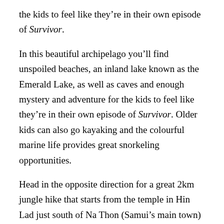the kids to feel like they're in their own episode of Survivor.
In this beautiful archipelago you'll find unspoiled beaches, an inland lake known as the Emerald Lake, as well as caves and enough mystery and adventure for the kids to feel like they're in their own episode of Survivor. Older kids can also go kayaking and the colourful marine life provides great snorkeling opportunities.
Head in the opposite direction for a great 2km jungle hike that starts from the temple in Hin Lad just south of Na Thon (Samui's main town) on the island's northwest. The jungle path follows a small river with plenty of rock pools and waterfalls to dip into and further up the mountain there are larger pools ideal for swimming or paddling.